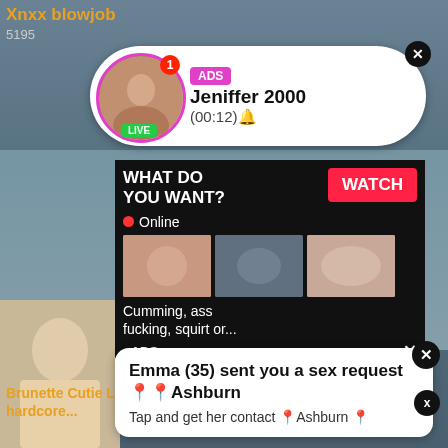Xnxx blowjob
5195
[Figure (screenshot): Notification popup with ADS badge, avatar with LIVE label, name Jeniffer 2000, time (00:12)]
[Figure (screenshot): Ad overlay panel with WHAT DO YOU WANT? heading, WATCH button, Online indicator, thumbnail images, text Cumming, ass fucking, squirt or... ADS]
Tap and get her contact 📍Ashburn 📍
Brunette Cutie Loves to Get Fucked in The Kitchen! Xnxx hardcore...
[Figure (screenshot): Second notification popup: Emma (35) sent you a sex request📍📍Ashburn, Tap and get her contact 📍Ashburn 📍]